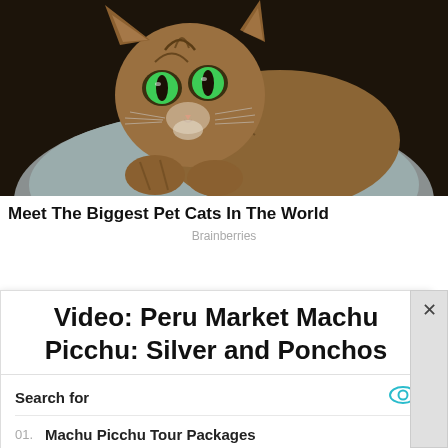[Figure (photo): Close-up photograph of a large tabby/oriental cat with bright green eyes resting on a gray cushion, dark background]
Meet The Biggest Pet Cats In The World
Brainberries
Video: Peru Market Machu Picchu: Silver and Ponchos
Search for
01. Machu Picchu Tour Packages
02. Machu Picchu Facts
Yahoo! Search | Sponsored